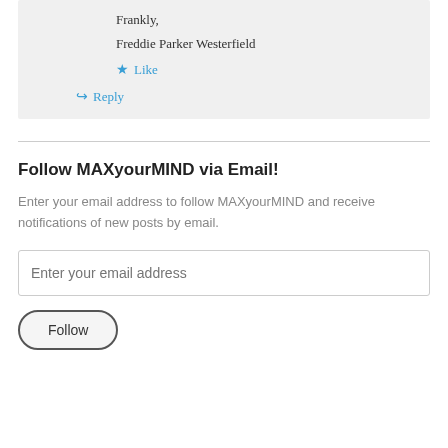Frankly,
Freddie Parker Westerfield
★ Like
↪ Reply
Follow MAXyourMIND via Email!
Enter your email address to follow MAXyourMIND and receive notifications of new posts by email.
Enter your email address
Follow